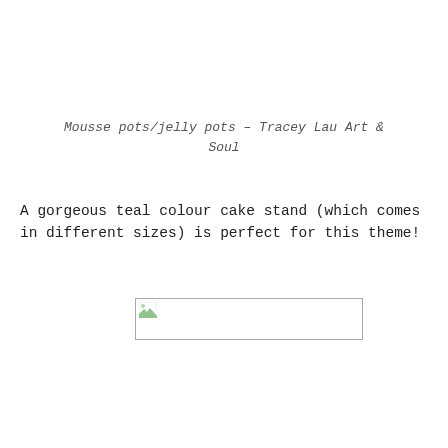Mousse pots/jelly pots - Tracey Lau Art & Soul
A gorgeous teal colour cake stand (which comes in different sizes) is perfect for this theme!
[Figure (photo): Broken/unloaded image placeholder showing a small image icon in the top-left corner of a bordered rectangle]